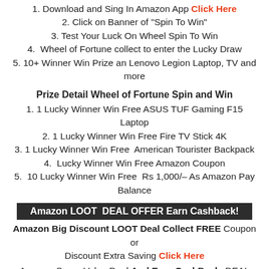1. Download and Sing In Amazon App Click Here
2. Click on Banner of "Spin To Win"
3. Test Your Luck On Wheel Spin To Win
4. Wheel of Fortune collect to enter the Lucky Draw
5. 10+ Winner Win Prize an Lenovo Legion Laptop, TV and more
Prize Detail Wheel of Fortune Spin and Win
1. 1 Lucky Winner Win Free ASUS TUF Gaming F15 Laptop
2. 1 Lucky Winner Win Free Fire TV Stick 4K
3. 1 Lucky Winner Win Free  American Tourister Backpack
4.  Lucky Winner Win Free Amazon Coupon
5.  10 Lucky Winner Win Free  Rs 1,000/- As Amazon Pay Balance
Amazon LOOT  DEAL OFFER Earn Cashback!
Amazon Big Discount LOOT Deal Collect FREE Coupon or Discount Extra Saving Click Here
Amazon Super Value Deal And Earn CashBack  DEAL Click